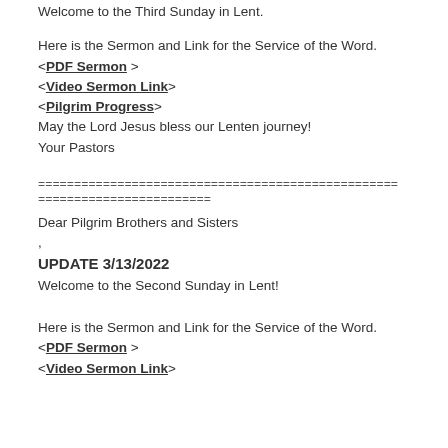Welcome to the Third Sunday in Lent.
Here is the Sermon and Link for the Service of the Word.
<PDF Sermon >
<Video Sermon Link>
<Pilgrim Progress>
May the Lord Jesus bless our Lenten journey!
Your Pastors
==================================================================
Dear Pilgrim Brothers and Sisters
,
UPDATE 3/13/2022
Welcome to the Second Sunday in Lent!
Here is the Sermon and Link for the Service of the Word.
<PDF Sermon >
<Video Sermon Link>